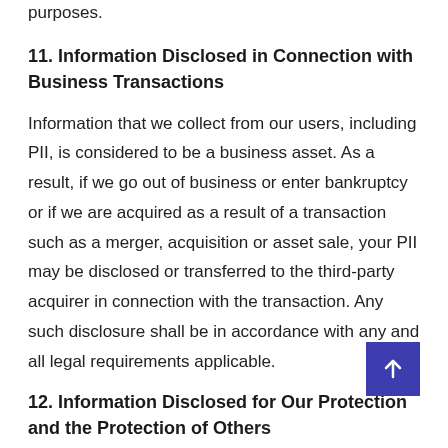purposes.
11. Information Disclosed in Connection with Business Transactions
Information that we collect from our users, including PII, is considered to be a business asset. As a result, if we go out of business or enter bankruptcy or if we are acquired as a result of a transaction such as a merger, acquisition or asset sale, your PII may be disclosed or transferred to the third-party acquirer in connection with the transaction. Any such disclosure shall be in accordance with any and all legal requirements applicable.
12. Information Disclosed for Our Protection and the Protection of Others